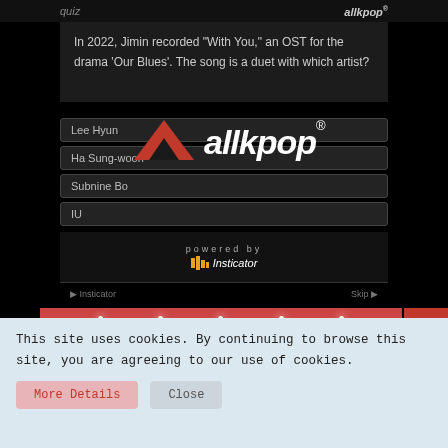quiz
allkpop®
In 2022, Jimin recorded "With You," an OST for the drama 'Our Blues'. The song is a duet with which artist?
Lee Hyun
Ha Sung-woon
Subnine Bo
IU
powered by
Insticator
[Figure (screenshot): allkpop logo centered overlay on quiz with triangle logo and text 'allkpop®']
[Figure (photo): Man in black cap and purple t-shirt standing in what appears to be a convenience store or building lobby with overhead lights. Text overlay reads 'THE HOTTEST K-POP']
This site uses cookies. By continuing to browse this site, you are agreeing to our use of cookies.
More Details
Close